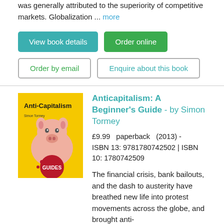was generally attributed to the superiority of competitive markets. Globalization ... more
View book details
Order online
Order by email
Enquire about this book
[Figure (illustration): Book cover of Anticapitalism: A Beginner's Guide by Simon Tormey. Yellow cover with a pig and the word GUIDES on a red circle.]
Anticapitalism: A Beginner's Guide - by Simon Tormey
£9.99   paperback   (2013) - ISBN 13: 9781780742502 | ISBN 10: 1780742509
The financial crisis, bank bailouts, and the dash to austerity have breathed new life into protest movements across the globe, and brought anti-